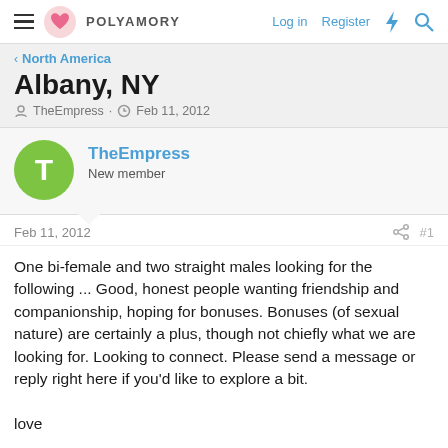POLYAMORY — Log in  Register
North America
Albany, NY
TheEmpress · Feb 11, 2012
TheEmpress
New member
Feb 11, 2012  #1
One bi-female and two straight males looking for the following ... Good, honest people wanting friendship and companionship, hoping for bonuses. Bonuses (of sexual nature) are certainly a plus, though not chiefly what we are looking for. Looking to connect. Please send a message or reply right here if you'd like to explore a bit.

love